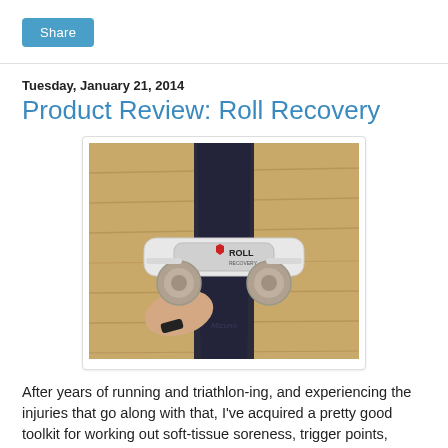Share
Tuesday, January 21, 2014
Product Review: Roll Recovery
[Figure (photo): Photo of Roll Recovery massage device held against a leg wearing dark compression tights, on a wooden floor background. The white device has 'ROLL Recovery' branding in red and black text.]
After years of running and triathlon-ing, and experiencing the injuries that go along with that, I've acquired a pretty good toolkit for working out soft-tissue soreness, trigger points,